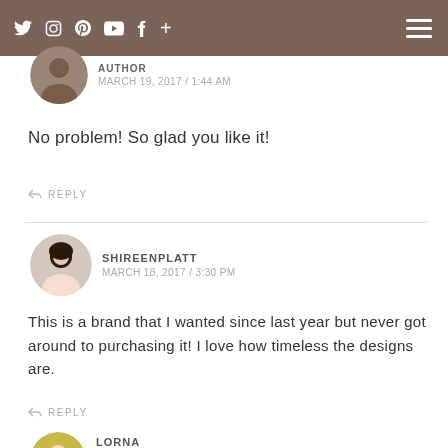Social media icons: Twitter, Instagram, Pinterest, YouTube, Facebook, Plus | Hamburger menu
AUTHOR
MARCH 19, 2017 / 1:44 AM
No problem! So glad you like it!
↩ REPLY
SHIREENPLATT
MARCH 18, 2017 / 3:30 PM
This is a brand that I wanted since last year but never got around to purchasing it! I love how timeless the designs are.
↩ REPLY
LORNA
AUTHOR
MARCH 19, 2017 / 1:46 AM